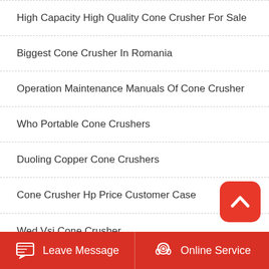High Capacity High Quality Cone Crusher For Sale
Biggest Cone Crusher In Romania
Operation Maintenance Manuals Of Cone Crusher
Who Portable Cone Crushers
Duoling Copper Cone Crushers
Cone Crusher Hp Price Customer Case
Wed Vsi Cone Crusher
Portable Cone Crusher Egypt
[Figure (other): Red rounded square scroll-to-top button with upward chevron icon]
Leave Message | Online Service